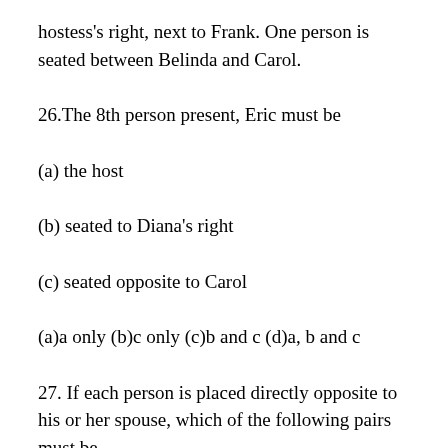hostess's right, next to Frank. One person is seated between Belinda and Carol.
26.The 8th person present, Eric must be
(a) the host
(b) seated to Diana's right
(c) seated opposite to Carol
(a)a only (b)c only (c)b and c (d)a, b and c
27. If each person is placed directly opposite to his or her spouse, which of the following pairs must be